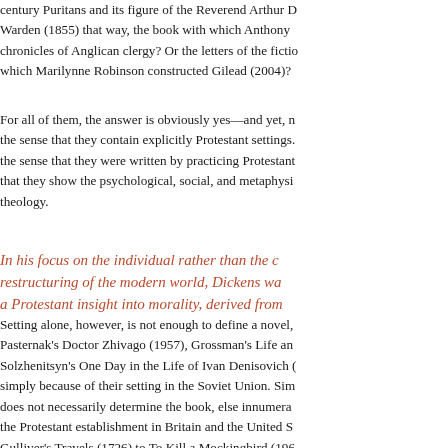century Puritans and its figure of the Reverend Arthur D Warden (1855) that way, the book with which Anthony chronicles of Anglican clergy? Or the letters of the fictio which Marilynne Robinson constructed Gilead (2004)?
For all of them, the answer is obviously yes—and yet, m the sense that they contain explicitly Protestant settings. the sense that they were written by practicing Protestant that they show the psychological, social, and metaphysi theology.
In his focus on the individual rather than the c restructuring of the modern world, Dickens wa a Protestant insight into morality, derived from
Setting alone, however, is not enough to define a novel, Pasternak's Doctor Zhivago (1957), Grossman's Life an Solzhenitsyn's One Day in the Life of Ivan Denisovich ( simply because of their setting in the Soviet Union. Sim does not necessarily determine the book, else innumera the Protestant establishment in Britain and the United S Gulliver's Travels (1726) to To Kill a Mockingbird (196